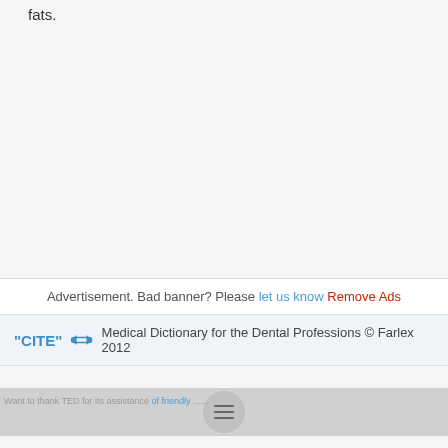fats.
Advertisement. Bad banner? Please let us know Remove Ads
"CITE" Medical Dictionary for the Dental Professions © Farlex 2012
Want to thank TED for its assistance of friendly...